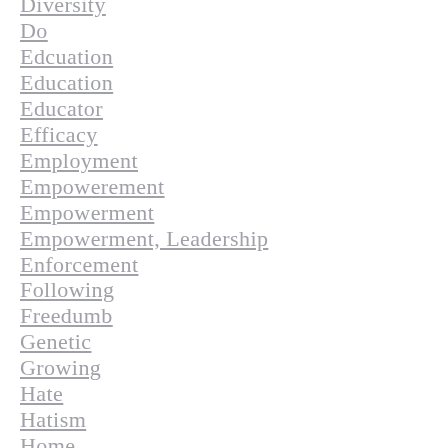Diversity
Do
Edcuation
Education
Educator
Efficacy
Employment
Empowerement
Empowerment
Empowerment, Leadership
Enforcement
Following
Freedumb
Genetic
Growing
Hate
Hatism
Home
Honor